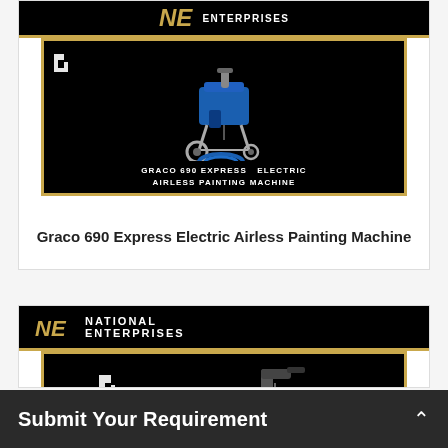[Figure (photo): Product listing card for Graco 690 Express Electric Airless Painting Machine by National Enterprises. Black background with gold border. Shows the painting machine with blue hose coil.]
Graco 690 Express Electric Airless Painting Machine
[Figure (photo): Second product listing card by National Enterprises showing a Graco airless painting machine, partially visible, cut off at bottom of page.]
Submit Your Requirement